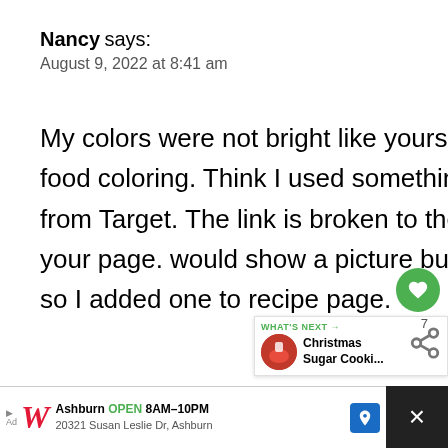Nancy says:
August 9, 2022 at 8:41 am
My colors were not bright like yours. I think I used the wrong food coloring. Think I used something that said natural juices from Target. The link is broken to the food coloring brand on your page. would show a picture but it won't let me add a picture so I added one to recipe page.
[Figure (screenshot): Walgreens advertisement banner: Ashburn OPEN 8AM-10PM, 20321 Susan Leslie Dr, Ashburn. With Walgreens logo, blue arrow navigation icon, and close (X) button.]